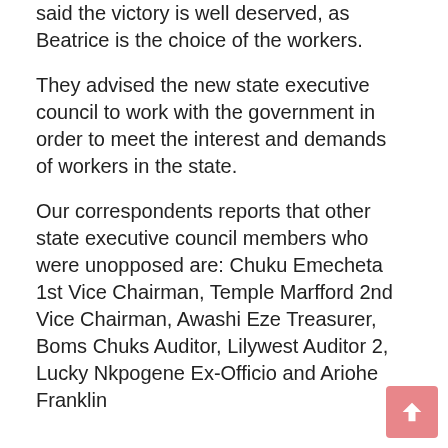said the victory is well deserved, as Beatrice is the choice of the workers.
They advised the new state executive council to work with the government in order to meet the interest and demands of workers in the state.
Our correspondents reports that other state executive council members who were unopposed are: Chuku Emecheta 1st Vice Chairman, Temple Marfford 2nd Vice Chairman, Awashi Eze Treasurer, Boms Chuks Auditor, Lilywest Auditor 2, Lucky Nkpogene Ex-Officio and Ariohe Franklin